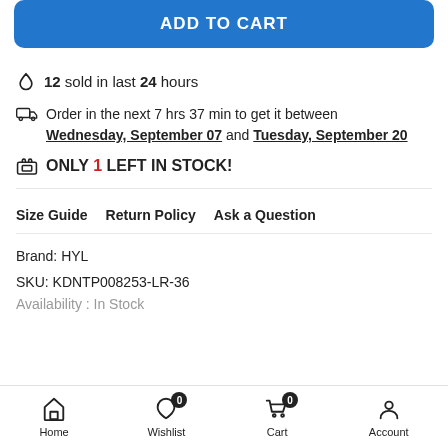ADD TO CART
🔥 12 sold in last 24 hours
Order in the next 7 hrs 37 min to get it between Wednesday, September 07 and Tuesday, September 20
ONLY 1 LEFT IN STOCK!
Size Guide   Return Policy   Ask a Question
Brand: HYL
SKU: KDNTP008253-LR-36
Availability: In Stock
Home   Wishlist 0   Cart 0   Account